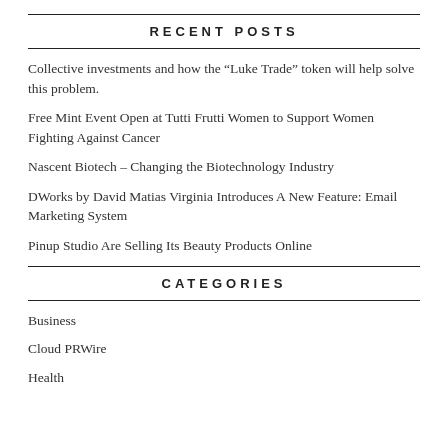RECENT POSTS
Collective investments and how the “Luke Trade” token will help solve this problem.
Free Mint Event Open at Tutti Frutti Women to Support Women Fighting Against Cancer
Nascent Biotech – Changing the Biotechnology Industry
DWorks by David Matias Virginia Introduces A New Feature: Email Marketing System
Pinup Studio Are Selling Its Beauty Products Online
CATEGORIES
Business
Cloud PRWire
Health